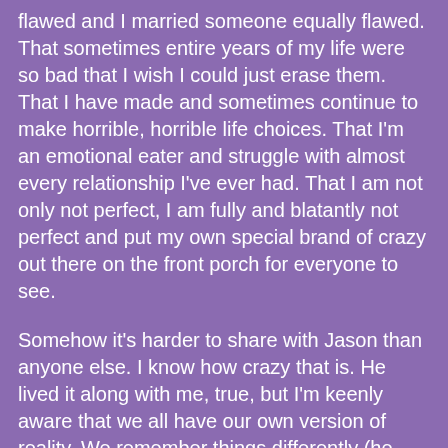flawed and I married someone equally flawed. That sometimes entire years of my life were so bad that I wish I could just erase them. That I have made and sometimes continue to make horrible, horrible life choices. That I'm an emotional eater and struggle with almost every relationship I've ever had. That I am not only not perfect, I am fully and blatantly not perfect and put my own special brand of crazy out there on the front porch for everyone to see.

Somehow it's harder to share with Jason than anyone else. I know how crazy that is. He lived it along with me, true, but I'm keenly aware that we all have our own version of reality. We remember things differently (he never remembers anything at all. Thanks brain injury!). It's harder for me too because, if I'm being honest, it's hard for me to admit to him how much he hurt me. It's hard for me to admit that I loved him so much it literally made my heart hurt sometimes. It's super hard for me to admit that loving him scared the hell out of me, because I never had anything like it before, ever, and I had no idea that it was supposed to feel that way. It's hard, still, for me to admit that loving him meant giving up on certain things that I always wanted, like a mother-in-law who